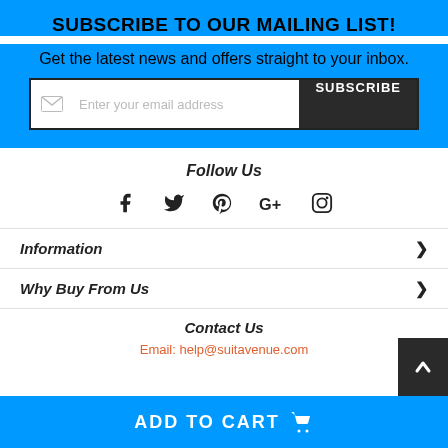SUBSCRIBE TO OUR MAILING LIST!
Get the latest news and offers straight to your inbox.
Enter your email address  SUBSCRIBE
Follow Us
[Figure (infographic): Social media icons: Facebook, Twitter, Pinterest, Google+, Instagram]
Information
Why Buy From Us
Contact Us
Email: help@suitavenue.com
ADD TO CART